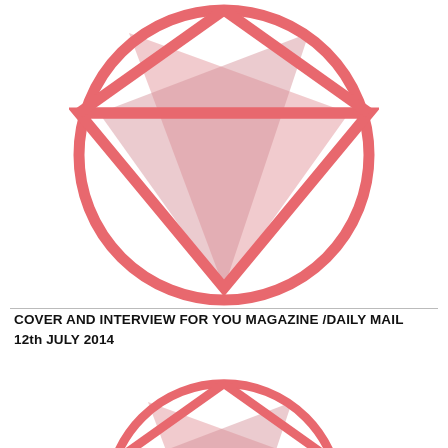[Figure (logo): Circular logo with a large downward-pointing triangle and two overlapping pink/salmon triangles inside, rendered in salmon/coral pink. The circle has a thick coral pink stroke. A horizontal line bisects the circle and the triangle. Two overlapping triangles (lighter pink fill) are rotated within the circle creating a layered geometric effect.]
COVER AND INTERVIEW FOR YOU MAGAZINE /DAILY MAIL
12th JULY 2014
[Figure (logo): Same circular logo as above, partially cropped at the bottom of the page — only the top half visible.]